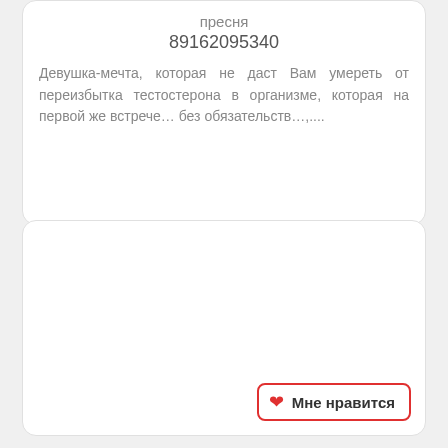пресня
89162095340
Девушка-мечта, которая не даст Вам умереть от переизбытка тестостерона в организме, которая на первой же встрече… без обязательств…,...
[Figure (other): Empty white card panel]
Мне нравится